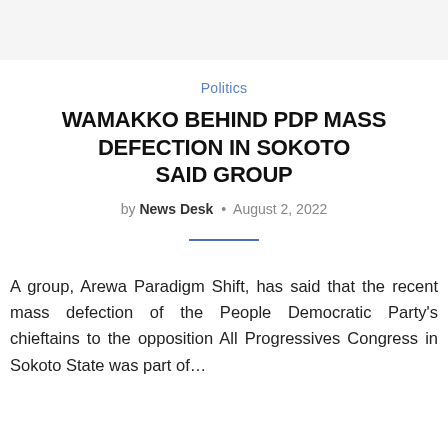Politics
WAMAKKO BEHIND PDP MASS DEFECTION IN SOKOTO SAID GROUP
by News Desk • August 2, 2022
A group, Arewa Paradigm Shift, has said that the recent mass defection of the People Democratic Party's chieftains to the opposition All Progressives Congress in Sokoto State was part of...